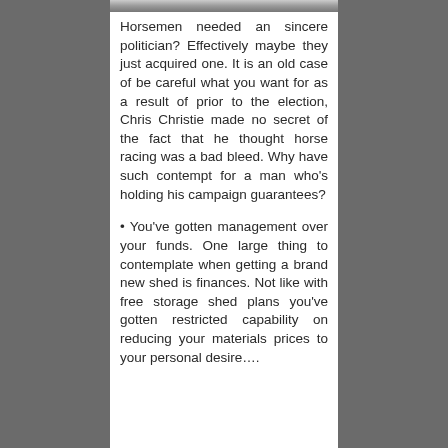[Figure (photo): Partial photo strip visible at top of content column]
Horsemen needed an sincere politician? Effectively maybe they just acquired one. It is an old case of be careful what you want for as a result of prior to the election, Chris Christie made no secret of the fact that he thought horse racing was a bad bleed. Why have such contempt for a man who's holding his campaign guarantees?
• You've gotten management over your funds. One large thing to contemplate when getting a brand new shed is finances. Not like with free storage shed plans you've gotten restricted capability on reducing your materials prices to your personal desire….